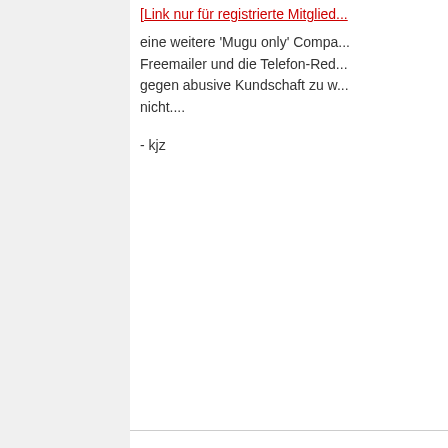[Link nur für registrierte Mitglieder]
eine weitere 'Mugu only' Compa... Freemailer und die Telefon-Red... gegen abusive Kundschaft zu w... nicht....
- kjz
mein Credo: die 10 größten RO... gezogen, und 80 % des weltwe... einem Schlag erledigt.... Ausserdem fordere ich die Absc... da mir bis heute niemand ein 1... benennen konnte.
Seite 5 von 169   Erste  ...  3  4  5
« Vorheriges Thema | Nächstes Thema »